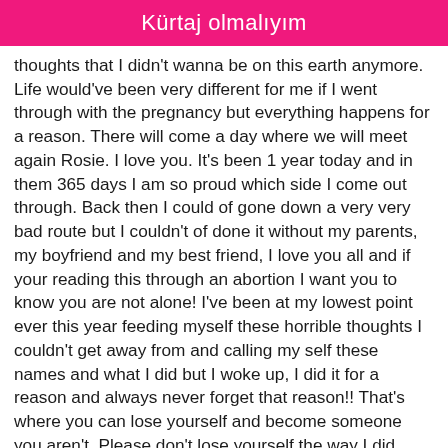Kürtaj olmalıyım
thoughts that I didn't wanna be on this earth anymore. Life would've been very different for me if I went through with the pregnancy but everything happens for a reason. There will come a day where we will meet again Rosie. I love you. It's been 1 year today and in them 365 days I am so proud which side I come out through. Back then I could of gone down a very very bad route but I couldn't of done it without my parents, my boyfriend and my best friend, I love you all and if your reading this through an abortion I want you to know you are not alone! I've been at my lowest point ever this year feeding myself these horrible thoughts I couldn't get away from and calling my self these names and what I did but I woke up, I did it for a reason and always never forget that reason!! That's where you can lose yourself and become someone you aren't. Please don't lose yourself the way I did because I know now abortions are not easy and are